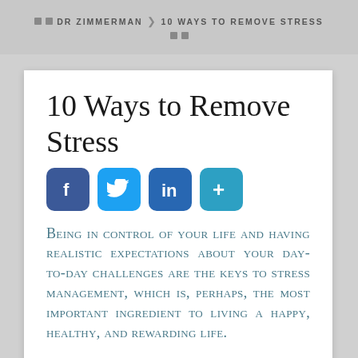DR ZIMMERMAN | 10 WAYS TO REMOVE STRESS
10 Ways to Remove Stress
[Figure (infographic): Social media share buttons: Facebook (blue), Twitter (light blue), LinkedIn (blue), and a share/more button (teal)]
Being in control of your life and having realistic expectations about your day-to-day challenges are the keys to stress management, which is, perhaps, the most important ingredient to living a happy, healthy, and rewarding life.